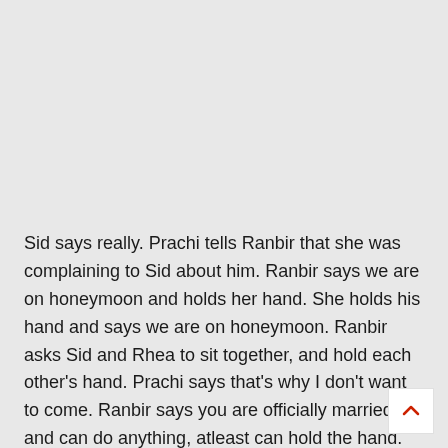Sid says really. Prachi tells Ranbir that she was complaining to Sid about him. Ranbir says we are on honeymoon and holds her hand. She holds his hand and says we are on honeymoon. Ranbir asks Sid and Rhea to sit together, and hold each other's hand. Prachi says that's why I don't want to come. Ranbir says you are officially married and can do anything, atleast can hold the hand. Rhea says how can you see this Ranbir, how can I hold someone else's hand. She says if I do this, then won't you feel bad? Prachi laughs and says you scared Ranbir. She says she was joking? Ranbir says I asked you, but she responded. He says I was thinking why you said this. Prachi falls. Ranbir kisses on her cheeks and says we a